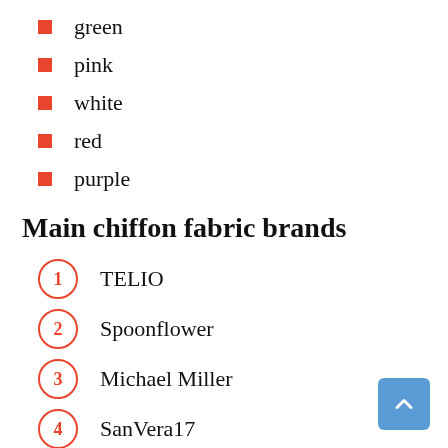green
pink
white
red
purple
Main chiffon fabric brands
TELIO
Spoonflower
Michael Miller
SanVera17
APC Fabrics